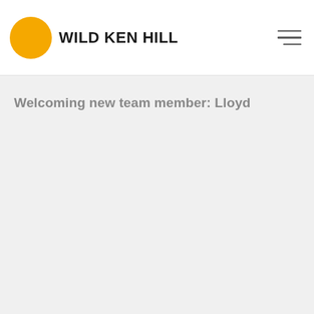[Figure (logo): Wild Ken Hill logo: orange circle with bold black text 'WILD KEN HILL']
Welcoming new team member: Lloyd